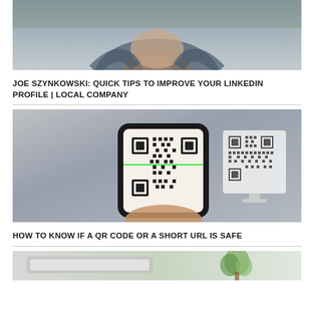[Figure (photo): Partial photo of a person in a suit, cropped at the top portion showing shoulders and lower face area]
JOE SZYNKOWSKI: QUICK TIPS TO IMPROVE YOUR LINKEDIN PROFILE | LOCAL COMPANY
[Figure (photo): A hand holding a smartphone scanning a QR code, with another QR code visible in the background on a stand]
HOW TO KNOW IF A QR CODE OR A SHORT URL IS SAFE
[Figure (photo): Bottom portion of another article image, partially visible, showing a desk/office scene with a plant]